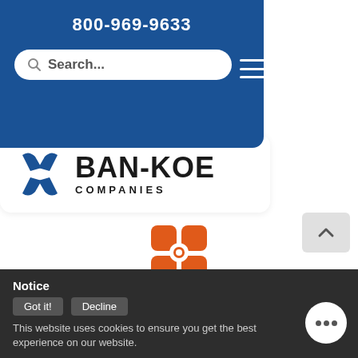800-969-9633
[Figure (logo): Ban-Koe Companies logo with blue interlocking logo mark and bold sans-serif text]
[Figure (logo): Allegion orange logo mark with ALLEGION wordmark]
Allegion | Electronic Access & Monitoring, Exits, Openers & Closers, Locks, Keys & Levels
At Allegion, we help keep
Notice
Got it!  Decline
This website uses cookies to ensure you get the best experience on our website.